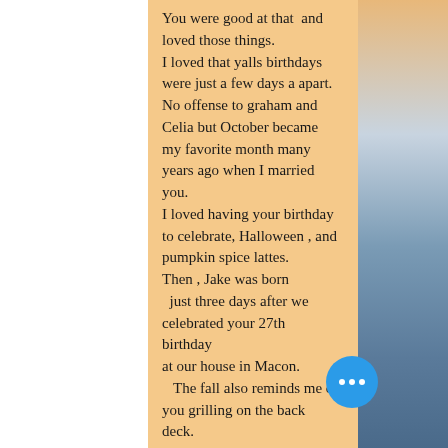You were good at that  and loved those things.
I loved that yalls birthdays were just a few days a apart.
No offense to graham and Celia but October became my favorite month many years ago when I married you.
I loved having your birthday to celebrate, Halloween , and pumpkin spice lattes.
Then , Jake was born 
  just three days after we celebrated your 27th birthday
at our house in Macon.
   The fall also reminds me of you grilling on the back deck.

Alix wrote the most amazing letter
the kids.
[Figure (other): Blue circular button with three white dots (more options / ellipsis button)]